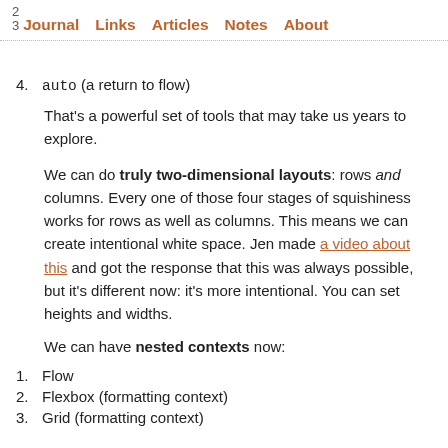2
3  Journal  Links  Articles  Notes  About
4. auto (a return to flow)
That's a powerful set of tools that may take us years to explore.
We can do truly two-dimensional layouts: rows and columns. Every one of those four stages of squishiness works for rows as well as columns. This means we can create intentional white space. Jen made a video about this and got the response that this was always possible, but it's different now: it's more intentional. You can set heights and widths.
We can have nested contexts now:
1. Flow
2. Flexbox (formatting context)
3. Grid (formatting context)